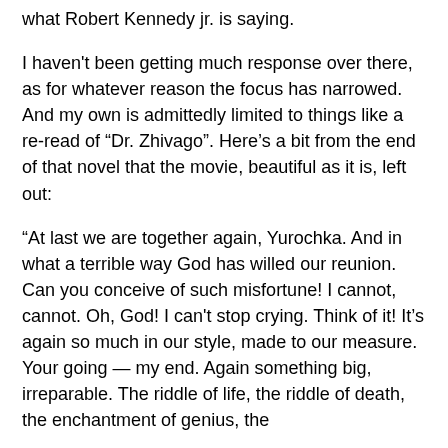what Robert Kennedy jr. is saying.
I haven't been getting much response over there, as for whatever reason the focus has narrowed. And my own is admittedly limited to things like a re-read of “Dr. Zhivago”. Here’s a bit from the end of that novel that the movie, beautiful as it is, left out:
“At last we are together again, Yurochka. And in what a terrible way God has willed our reunion. Can you conceive of such misfortune! I cannot, cannot. Oh, God! I can't stop crying. Think of it! It’s again so much in our style, made to our measure. Your going — my end. Again something big, irreparable. The riddle of life, the riddle of death, the enchantment of genius, the